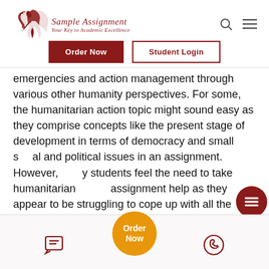Sample Assignment — Your Key to Academic Excellence
emergencies and action management through various other humanity perspectives. For some, the humanitarian action topic might sound easy as they comprise concepts like the present stage of development in terms of democracy and small social and political issues in an assignment. However, many students feel the need to take humanitarian action assignment help as they appear to be struggling to cope up with all the manner of challenges that humanitarian questions come in the form of assignments.
Order Now